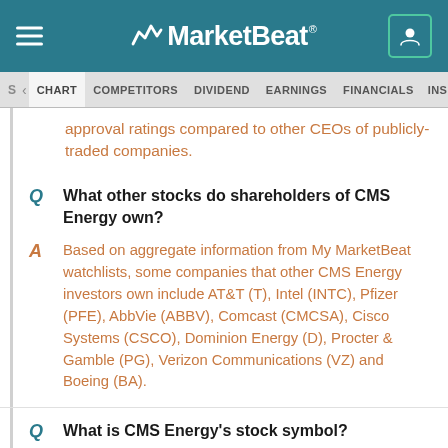MarketBeat - CHART | COMPETITORS | DIVIDEND | EARNINGS | FINANCIALS | INSIDER TR
approval ratings compared to other CEOs of publicly-traded companies.
Q: What other stocks do shareholders of CMS Energy own?
A: Based on aggregate information from My MarketBeat watchlists, some companies that other CMS Energy investors own include AT&T (T), Intel (INTC), Pfizer (PFE), AbbVie (ABBV), Comcast (CMCSA), Cisco Systems (CSCO), Dominion Energy (D), Procter & Gamble (PG), Verizon Communications (VZ) and Boeing (BA).
Q: What is CMS Energy's stock symbol?